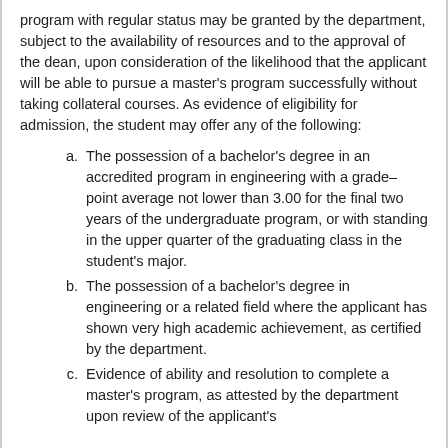program with regular status may be granted by the department, subject to the availability of resources and to the approval of the dean, upon consideration of the likelihood that the applicant will be able to pursue a master's program successfully without taking collateral courses. As evidence of eligibility for admission, the student may offer any of the following:
a. The possession of a bachelor's degree in an accredited program in engineering with a grade–point average not lower than 3.00 for the final two years of the undergraduate program, or with standing in the upper quarter of the graduating class in the student's major.
b. The possession of a bachelor's degree in engineering or a related field where the applicant has shown very high academic achievement, as certified by the department.
c. Evidence of ability and resolution to complete a master's program, as attested by the department upon review of the applicant's